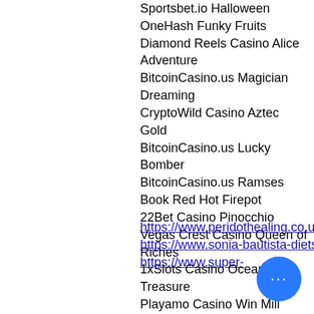Sportsbet.io Halloween
OneHash Funky Fruits
Diamond Reels Casino Alice Adventure
BitcoinCasino.us Magician Dreaming
CryptoWild Casino Aztec Gold
BitcoinCasino.us Lucky Bomber
BitcoinCasino.us Ramses Book Red Hot Firepot
22Bet Casino Pinocchio
Vegas Crest Casino Queen of Riches
1xSlots Casino Ocean Treasure
Playamo Casino Win Mill
Cloudbet Casino Crazy 7
Playamo Casino Admiral Nelson
1xBit Casino Wild Melon
https://www.peridothealing.co.uk/profile/nestorbarria2831792/profile
https://www.sonia-bautista-dietsport.com/profile/kipcandy5975539e
https://www.super-